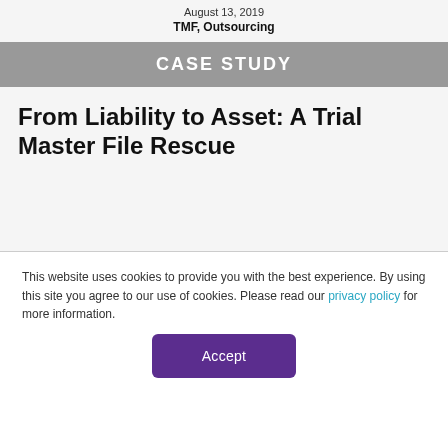August 13, 2019
TMF, Outsourcing
CASE STUDY
From Liability to Asset: A Trial Master File Rescue
This website uses cookies to provide you with the best experience. By using this site you agree to our use of cookies. Please read our privacy policy for more information.
Accept